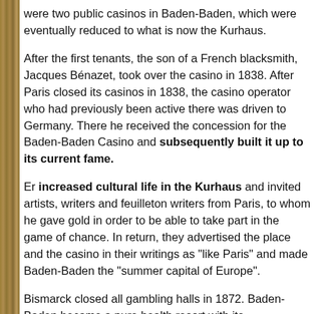were two public casinos in Baden-Baden, which were eventually reduced to what is now the Kurhaus.
After the first tenants, the son of a French blacksmith, Jacques Bénazet, took over the casino in 1838. After Paris closed its casinos in 1838, the casino operator who had previously been active there was driven to Germany. There he received the concession for the Baden-Baden Casino and subsequently built it up to its current fame.
Er increased cultural life in the Kurhaus and invited artists, writers and feuilleton writers from Paris, to whom he gave gold in order to be able to take part in the game of chance. In return, they advertised the place and the casino in their writings as "like Paris" and made Baden-Baden the "summer capital of Europe".
Bismarck closed all gambling halls in 1872. Baden-Baden became a pure health resort with its representative hotel buildings in the vicinity of the casino. Gambling was not resumed until 1933.